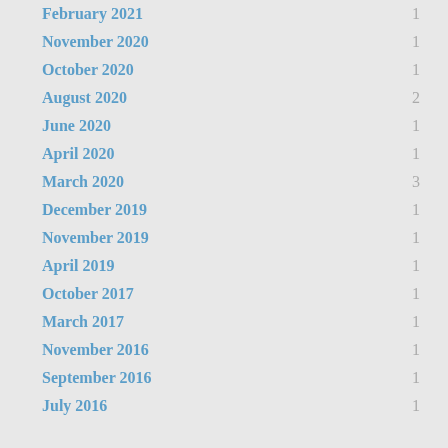February 2021  1
November 2020  1
October 2020  1
August 2020  2
June 2020  1
April 2020  1
March 2020  3
December 2019  1
November 2019  1
April 2019  1
October 2017  1
March 2017  1
November 2016  1
September 2016  1
July 2016  1